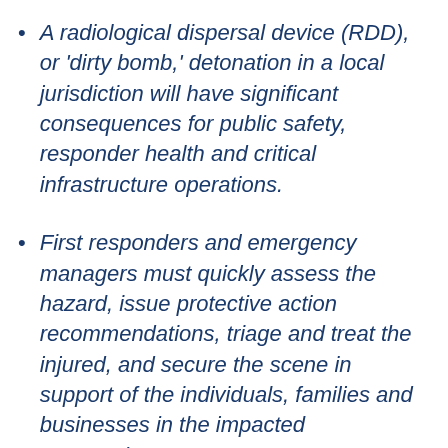A radiological dispersal device (RDD), or 'dirty bomb,' detonation in a local jurisdiction will have significant consequences for public safety, responder health and critical infrastructure operations.
First responders and emergency managers must quickly assess the hazard, issue protective action recommendations, triage and treat the injured, and secure the scene in support of the individuals, families and businesses in the impacted community.